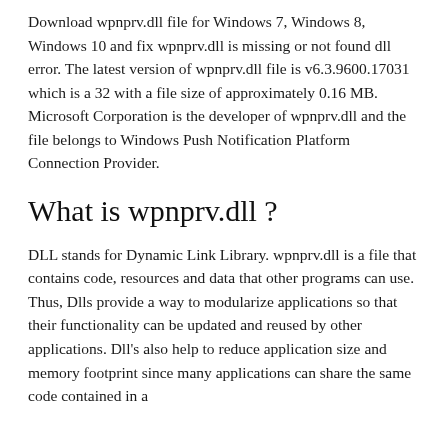Download wpnprv.dll file for Windows 7, Windows 8, Windows 10 and fix wpnprv.dll is missing or not found dll error. The latest version of wpnprv.dll file is v6.3.9600.17031 which is a 32 with a file size of approximately 0.16 MB. Microsoft Corporation is the developer of wpnprv.dll and the file belongs to Windows Push Notification Platform Connection Provider.
What is wpnprv.dll ?
DLL stands for Dynamic Link Library. wpnprv.dll is a file that contains code, resources and data that other programs can use. Thus, Dlls provide a way to modularize applications so that their functionality can be updated and reused by other applications. Dll's also help to reduce application size and memory footprint since many applications can share the same code contained in a